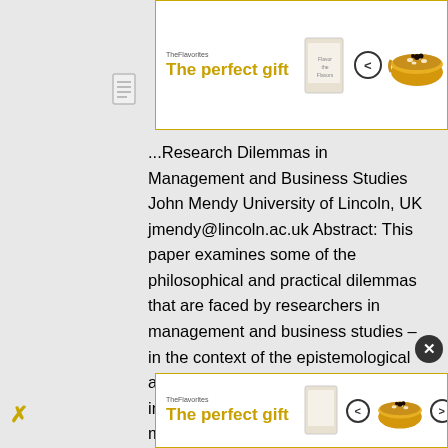[Figure (other): Advertisement banner for 'The perfect gift' featuring a bowl of rice/food with navigation arrows and 35% FREE SHIPPING offer in gold/yellow]
...Research Dilemmas in Management and Business Studies John Mendy University of Lincoln, UK jmendy@lincoln.ac.uk Abstract: This paper examines some of the philosophical and practical dilemmas that are faced by researchers in management and business studies – in the context of the epistemological and ontological assumptions introduced. The relevant methodological frameworks to be used stem from Strauss and Quinn (1997). The importance of employee language and organisational discourses are presented from the empirical data on “Aspects of Organisational Culture and Change” in Lincolnshire and Nottinghamshire to demonstrate the epistemological and ontological dilemmas faced by researchers in organisational analysis. Symbolic
[Figure (other): Advertisement banner for 'The perfect gift' featuring a bowl of rice/food with navigation arrows and 35% OFF FREE SHIPPING offer in gold/yellow]